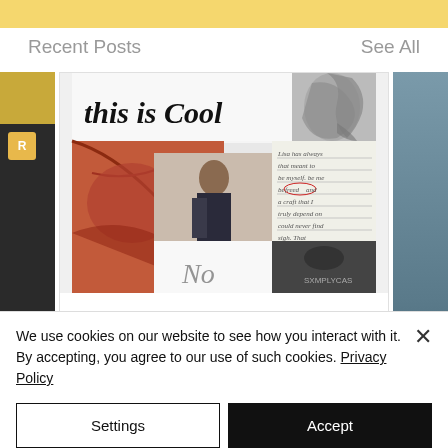Recent Posts
See All
[Figure (photo): Blog post card showing a collage image with 'this is Cool' heading, a woman posing in front of street art, handwritten journal text, and decorative elements]
SXMPLYCAS 2.0 | THE COMEBACK
[Figure (photo): Partial left card with dark background and yellow badge with R]
[Figure (photo): Partial right card with blue-grey background]
We use cookies on our website to see how you interact with it. By accepting, you agree to our use of such cookies. Privacy Policy
Settings
Accept